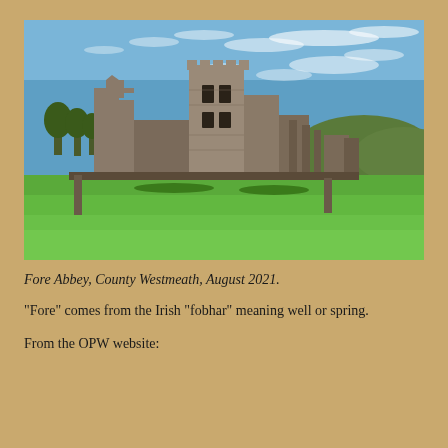[Figure (photo): Photograph of Fore Abbey ruins in County Westmeath, showing stone walls and towers against a blue sky with clouds, surrounded by green grass.]
Fore Abbey, County Westmeath, August 2021.
“Fore” comes from the Irish “fobhar” meaning well or spring.
From the OPW website: